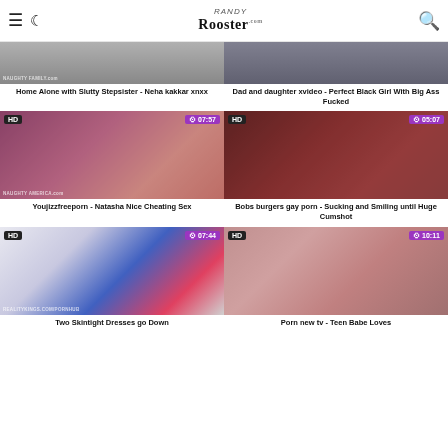Randy Rooster
[Figure (screenshot): Home Alone with Slutty Stepsister - Neha kakkar xnxx thumbnail (partial top)]
Home Alone with Slutty Stepsister - Neha kakkar xnxx
[Figure (screenshot): Dad and daughter xvideo - Perfect Black Girl With Big Ass Fucked thumbnail (partial top)]
Dad and daughter xvideo - Perfect Black Girl With Big Ass Fucked
[Figure (screenshot): Youjizzfreeporn - Natasha Nice Cheating Sex thumbnail HD 07:57]
Youjizzfreeporn - Natasha Nice Cheating Sex
[Figure (screenshot): Bobs burgers gay porn - Sucking and Smiling until Huge Cumshot thumbnail HD 05:07]
Bobs burgers gay porn - Sucking and Smiling until Huge Cumshot
[Figure (screenshot): Two Skintight Dresses go Down thumbnail HD 07:44]
Two Skintight Dresses go Down
[Figure (screenshot): Porn new tv - Teen Babe Loves thumbnail HD 10:11]
Porn new tv - Teen Babe Loves